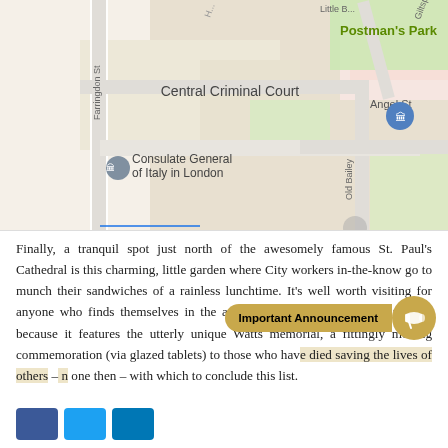[Figure (map): Google Maps screenshot showing area around St. Paul's Cathedral in London, featuring Central Criminal Court, Consulate General of Italy in London, Temple Bar Gate, Postman's Park, Angel St, Old Bailey, Farringdon St, Giltspur St, A40 road, St. Paul's Underground station marker, and 'One Ne...' (New Change) label.]
Finally, a tranquil spot just north of the awesomely famous St. Paul's Cathedral is this charming, little garden where City workers in-the-know go to munch their sandwiches of a rainless lunchtime. It's well worth visiting for anyone who finds themselves in the area, though, more than anything else because it features the utterly unique Watts memorial, a fittingly moving commemoration (via glazed tablets) to those who have died saving the lives of others – n one then – with which to conclude this list.
[Figure (other): Important Announcement overlay button with megaphone icon in gold/tan color]